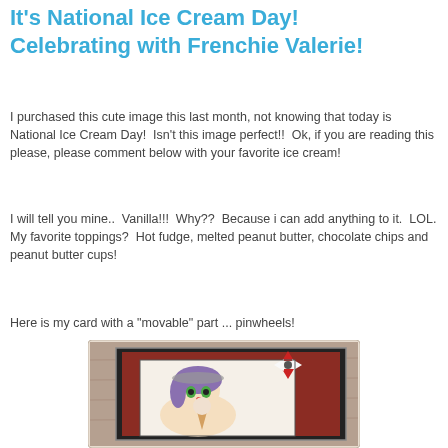It's National Ice Cream Day! Celebrating with Frenchie Valerie!
I purchased this cute image this last month, not knowing that today is National Ice Cream Day!  Isn't this image perfect!!  Ok, if you are reading this please, please comment below with your favorite ice cream!
I will tell you mine..  Vanilla!!!  Why??  Because i can add anything to it.  LOL.  My favorite toppings?  Hot fudge, melted peanut butter, chocolate chips and peanut butter cups!
Here is my card with a "movable" part ... pinwheels!
[Figure (photo): A handmade card featuring an anime-style girl character with purple hair holding an ice cream, decorated with pinwheels and red patterned paper, mounted on a rustic wood-look background.]